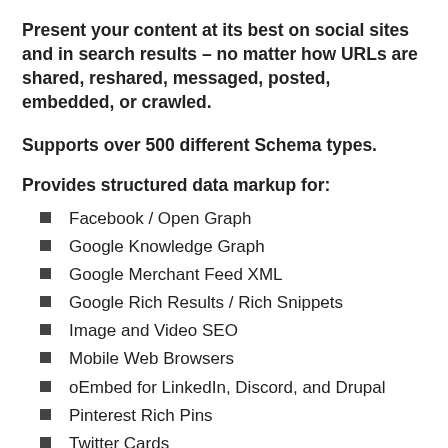Present your content at its best on social sites and in search results – no matter how URLs are shared, reshared, messaged, posted, embedded, or crawled.
Supports over 500 different Schema types.
Provides structured data markup for:
Facebook / Open Graph
Google Knowledge Graph
Google Merchant Feed XML
Google Rich Results / Rich Snippets
Image and Video SEO
Mobile Web Browsers
oEmbed for LinkedIn, Discord, and Drupal
Pinterest Rich Pins
Twitter Cards
Schema JSON-LD Markup
Slack